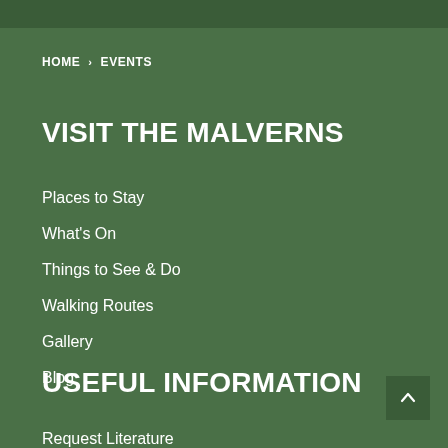HOME > EVENTS
VISIT THE MALVERNS
Places to Stay
What's On
Things to See & Do
Walking Routes
Gallery
Blog
USEFUL INFORMATION
Request Literature